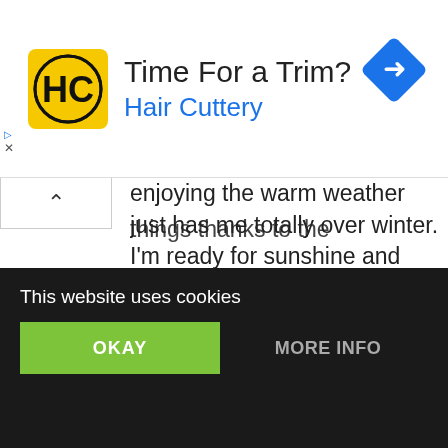[Figure (logo): Hair Cuttery advertisement banner with yellow HC logo, text 'Time For a Trim?' and 'Hair Cuttery' in blue, and a blue diamond navigation icon on the right]
enjoying the warm weather just has me totally over winter. I'm ready for sunshine and time outside. February was still a great month though. We celebrated Jesse's birthday and Valentine's Day. Mara was so excited to make valentines for her dad, sister and grandparents. I let her use glitter and I think it was the highlight of her little life.  My favorite things this month were really random, and unexpected, but I love them none the less. I am constantly [discovering new] things thanks to the
This website uses cookies
OKAY
MORE INFO